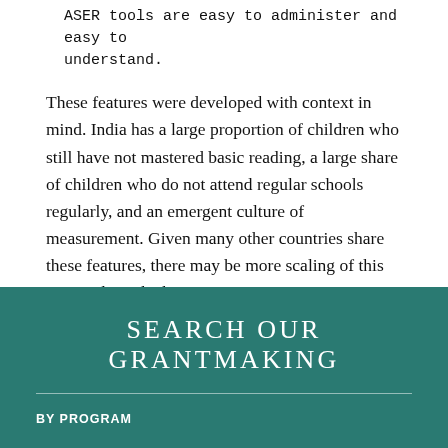ASER tools are easy to administer and easy to understand.
These features were developed with context in mind. India has a large proportion of children who still have not mastered basic reading, a large share of children who do not attend regular schools regularly, and an emergent culture of measurement. Given many other countries share these features, there may be more scaling of this approach on the horizon!
SEARCH OUR GRANTMAKING
BY PROGRAM